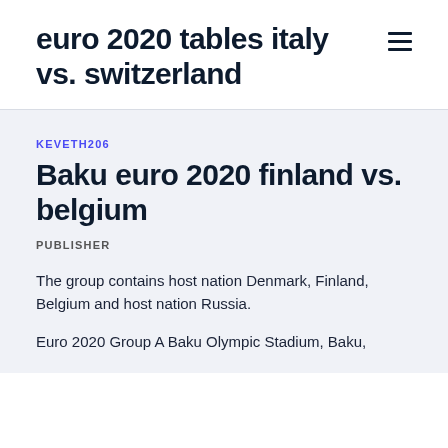euro 2020 tables italy vs. switzerland
KEVETH206
Baku euro 2020 finland vs. belgium
PUBLISHER
The group contains host nation Denmark, Finland, Belgium and host nation Russia.
Euro 2020 Group A Baku Olympic Stadium, Baku,